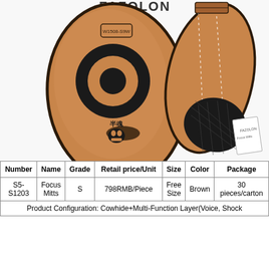[Figure (photo): Two brown leather boxing focus mitts with black circular target and logo on the front. One mitt faces forward showing the striking surface with a brand logo (half-demon skull design) and text markings. The second is angled showing the back with black mesh padding on the palm side. Brand name visible at top.]
| Number | Name | Grade | Retail price/Unit | Size | Color | Package |
| --- | --- | --- | --- | --- | --- | --- |
| S5-
S1203 | Focus
Mitts | S | 798RMB/Piece | Free
Size | Brown | 30
pieces/carton |
| Product Configuration: Cowhide+Multi-Function Layer(Voice, Shock |  |  |  |  |  |  |